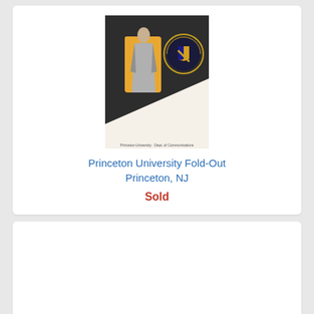[Figure (photo): Vintage Princeton University postcard with a figure in academic regalia against a dark background with the Princeton seal]
Princeton University Fold-Out Princeton, NJ
Sold
[Figure (photo): Dod Hall, Princeton University postcard image (not fully visible)]
Dod Hall, Princeton University